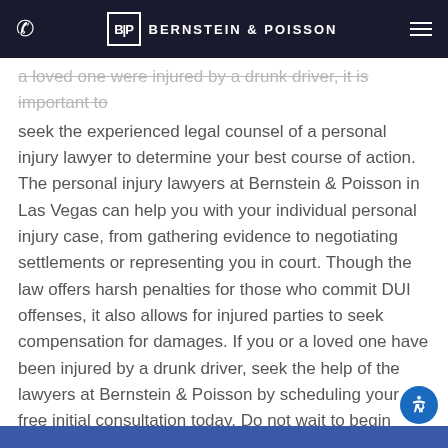Bernstein & Poisson
a loved one were injured by a drunk driver, it is important to seek the experienced legal counsel of a personal injury lawyer to determine your best course of action. The personal injury lawyers at Bernstein & Poisson in Las Vegas can help you with your individual personal injury case, from gathering evidence to negotiating settlements or representing you in court. Though the law offers harsh penalties for those who commit DUI offenses, it also allows for injured parties to seek compensation for damages. If you or a loved one have been injured by a drunk driver, seek the help of the lawyers at Bernstein & Poisson by scheduling your free initial consultation today. Do not wait to begin exercising your rights and pursuing compensation.